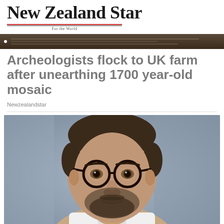New Zealand Star — For the World
Archeologists flock to UK farm after unearthing 1700 year-old mosaic
Newzealandstar
[Figure (photo): Portrait photo of a middle-aged man with short dark hair, dark-rimmed round glasses, and a beard, wearing a white collared shirt, smiling slightly, with a blurred blue/grey background.]